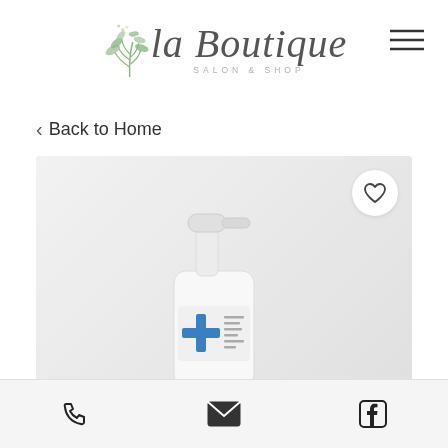[Figure (logo): La Boutique Salon & Shop logo with script text and green botanical leaf illustration on left side]
< Back to Home
[Figure (photo): A white spray pump bottle with blue label/design, photographed on light grey background. A circular white heart/favorite button is shown in the upper right corner of the image.]
[Figure (infographic): Bottom navigation bar with phone, email/envelope, and Facebook icons]